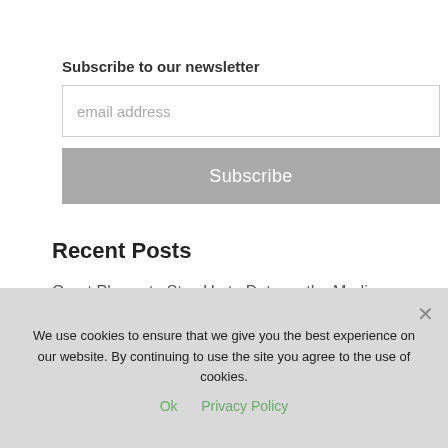Subscribe to our newsletter
email address
Subscribe
Recent Posts
Great Places to Stay Up to Date on the Media Publishing Industry
5 Media Conferences Every Media Publisher Needs to Attend (2022 Edition)
We use cookies to ensure that we give you the best experience on our website. By continuing to use the site you agree to the use of cookies.
Ok   Privacy Policy